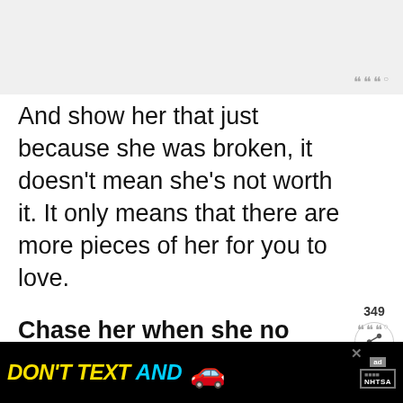[Figure (screenshot): Top gray header bar of a web/app interface]
And show her that just because she was broken, it doesn't mean she's not worth it. It only means that there are more pieces of her for you to love.
Chase her when she no longer believes in tomorrow. Show her that even a second with her means more than eternities without her.
[Figure (infographic): Red heart like button with count 349 and share button]
[Figure (infographic): WHAT'S NEXT arrow promo: She Overthinks...]
[Figure (infographic): DON'T TEXT AND [car emoji] advertisement banner by NHTSA]